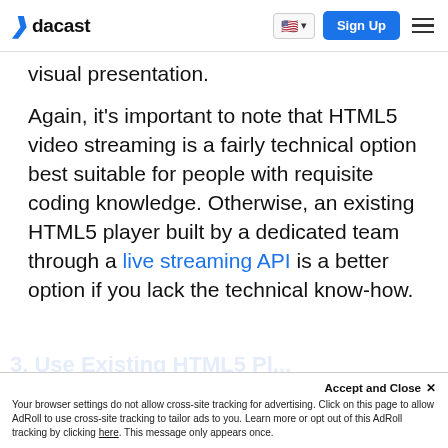dacast | Sign Up
visual presentation.
Again, it’s important to note that HTML5 video streaming is a fairly technical option best suitable for people with requisite coding knowledge. Otherwise, an existing HTML5 player built by a dedicated team through a live streaming API is a better option if you lack the technical know-how.
Accept and Close × Your browser settings do not allow cross-site tracking for advertising. Click on this page to allow AdRoll to use cross-site tracking to tailor ads to you. Learn more or opt out of this AdRoll tracking by clicking here. This message only appears once.